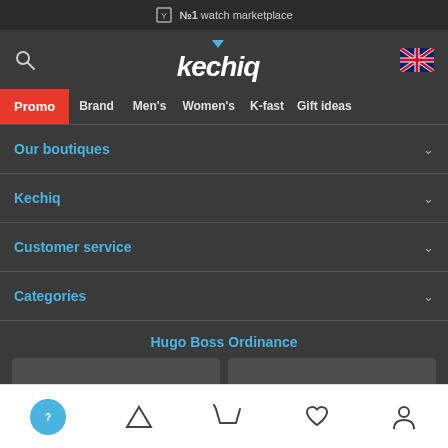№1 watch marketplace
[Figure (logo): Kechiq logo with blue dropdown arrow]
Promo
Brand
Men's
Women's
K-fast
Gift ideas
Our boutiques
Kechiq
Customer service
Categories
Hugo Boss Ordinance
Bottom navigation bar with menu, cart, wishlist, account icons